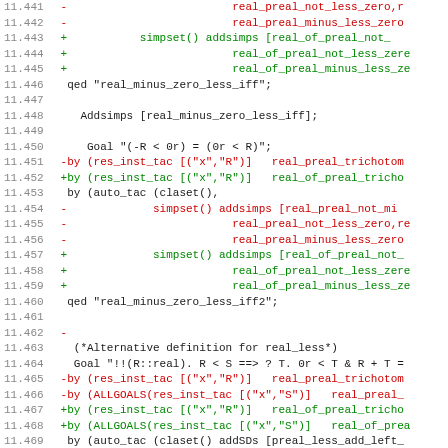[Figure (screenshot): Code diff screenshot showing HOL4 proof script lines 11.441 through 11.472+, with line numbers on the left, red lines prefixed with '-' indicating removed code, green lines prefixed with '+' indicating added code, and black lines for unchanged context. The code involves real number prover tactics including real_preal_not_less_zero, real_preal_minus_less_zero, real_of_preal variants, Addsimps, Goal statements, and ALLGOALS tactics.]